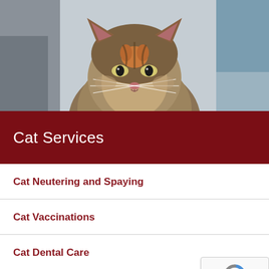[Figure (photo): Close-up photo of a tabby cat with long whiskers, looking at camera, against a light blue fabric background]
Cat Services
Cat Neutering and Spaying
Cat Vaccinations
Cat Dental Care
Kitten Vaccinations